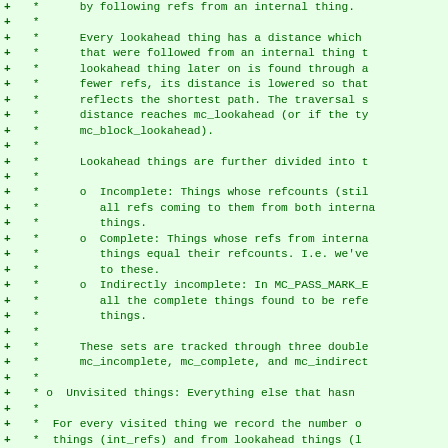+ *      by following refs from an internal thing.
+ *
+ *      Every lookahead thing has a distance which
+ *      that were followed from an internal thing t
+ *      lookahead thing later on is found through a
+ *      fewer refs, its distance is lowered so that
+ *      reflects the shortest path. The traversal s
+ *      distance reaches mc_lookahead (or if the ty
+ *      mc_block_lookahead).
+ *
+ *      Lookahead things are further divided into t
+ *
+ *      o  Incomplete: Things whose refcounts (stil
+ *         all refs coming to them from both intern
+ *         things.
+ *      o  Complete: Things whose refs from interna
+ *         things equal their refcounts. I.e. we've
+ *         to these.
+ *      o  Indirectly incomplete: In MC_PASS_MARK_E
+ *         all the complete things found to be refe
+ *         things.
+ *
+ *      These sets are tracked through three double
+ *      mc_incomplete, mc_complete, and mc_indirect
+ *
+ * o  Unvisited things: Everything else that hasn
+ *
+ *  For every visited thing we record the number o
+ *  things (int_refs) and from lookahead things (l
+ *
+ *  The basic algorithm for finding all internal t